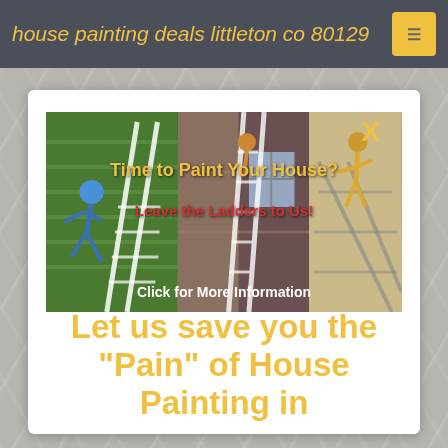house painting deals littleton co 80129
[Figure (illustration): Advertisement showing three side-by-side photos of people on ladders painting houses, with text overlays: 'Time to Paint Your House?', 'Leave the Ladders to Us!', 'Click for More Information'. A yellow X close button appears in the top right.]
Let us save you the "Pain" of House Painting in